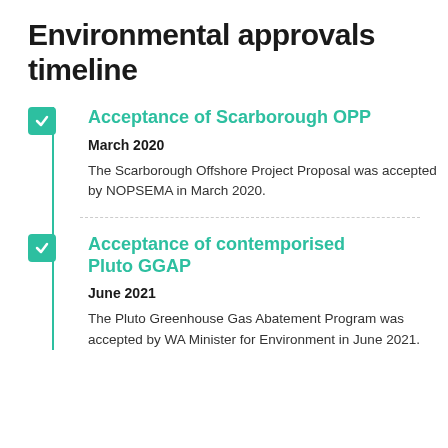Environmental approvals timeline
Acceptance of Scarborough OPP
March 2020
The Scarborough Offshore Project Proposal was accepted by NOPSEMA in March 2020.
Acceptance of contemporised Pluto GGAP
June 2021
The Pluto Greenhouse Gas Abatement Program was accepted by WA Minister for Environment in June 2021.